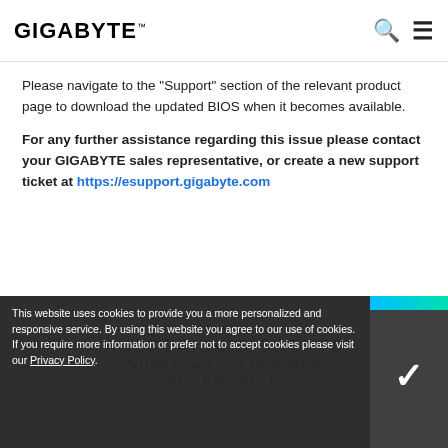GIGABYTE
Please navigate to the "Support" section of the relevant product page to download the updated BIOS when it becomes available.
For any further assistance regarding this issue please contact your GIGABYTE sales representative, or create a new support ticket at https://esupport.gigabyte.com
This website uses cookies to provide you a more personalized and responsive service. By using this website you agree to our use of cookies. If you require more information or prefer not to accept cookies please visit our Privacy Policy.